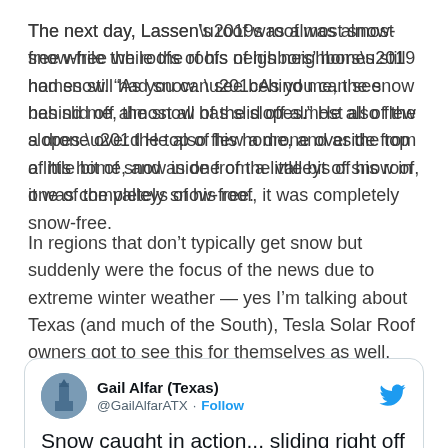The next day, Lassen’s roof was almost snow-free while the roofs of his neighbors’ homes still had snow. “As you can see behind me, the snow has slid off almost all of the slopes.” He also flew a drone over the top of his home, and aside from a little bit of snow in one of the valleys of his roof, it was completely snow-free.
In regions that don’t typically get snow but suddenly were the focus of the news due to extreme winter weather — yes I’m talking about Texas (and much of the South), Tesla Solar Roof owners got to see this for themselves as well.
[Figure (screenshot): Embedded tweet from Gail Alfar (Texas) @GailAlfarATX with Follow link and Twitter bird logo. Tweet text reads: Snow caught in action... sliding right off a Tesla Solar roof in Austin, Texas]